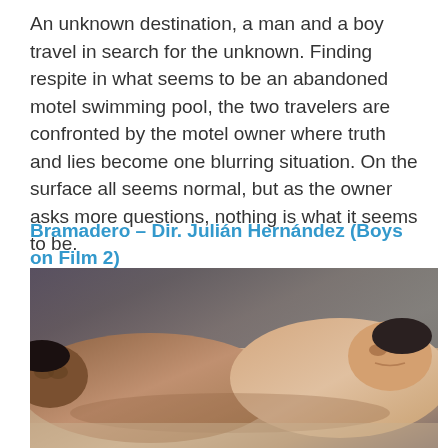An unknown destination, a man and a boy travel in search for the unknown. Finding respite in what seems to be an abandoned motel swimming pool, the two travelers are confronted by the motel owner where truth and lies become one blurring situation. On the surface all seems normal, but as the owner asks more questions, nothing is what it seems to be.
Bramadero – Dir. Julián Hernández (Boys on Film 2)
[Figure (photo): Two shirtless young men lying down, one with eyes closed facing left, one looking upward to the right, photographed from above at an angle.]